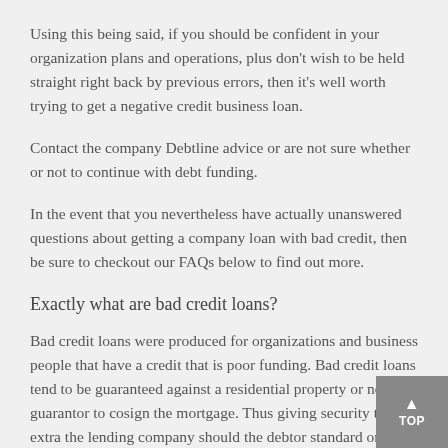Using this being said, if you should be confident in your organization plans and operations, plus don't wish to be held straight right back by previous errors, then it's well worth trying to get a negative credit business loan.
Contact the company Debtline advice or are not sure whether or not to continue with debt funding.
In the event that you nevertheless have actually unanswered questions about getting a company loan with bad credit, then be sure to checkout our FAQs below to find out more.
Exactly what are bad credit loans?
Bad credit loans were produced for organizations and business people that have a credit that is poor funding. Bad credit loans tend to be guaranteed against a residential property or need a guarantor to cosign the mortgage. Thus giving security that is extra the lending company should the debtor standard on financing.